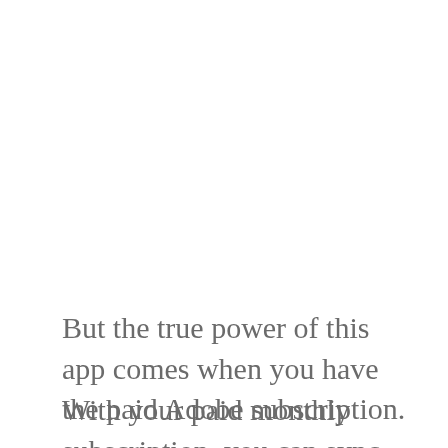But the true power of this app comes when you have the paid Adobe subscription.
With your paid monthly subscription, you can sync your photos to your Adobe online account, and edit